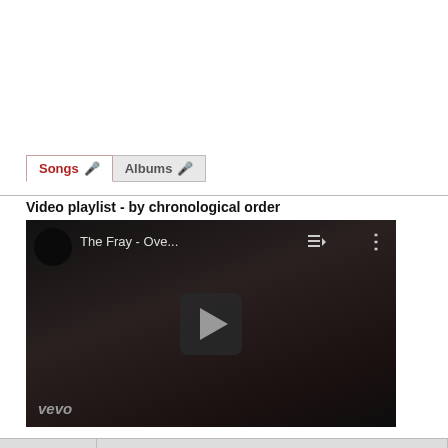[Figure (screenshot): Tabs showing 'Songs' (active, red text) and 'Albums' with microphone icons]
Video playlist - by chronological order
[Figure (screenshot): YouTube video thumbnail showing 'The Fray - Ove...' with play button, playlist icon, dots menu, vevo watermark, dark background with person's face]
| Date ▼▲ | Title ▼▲ Album |  |  |
| --- | --- | --- | --- |
| Points | US | us | us | UK |